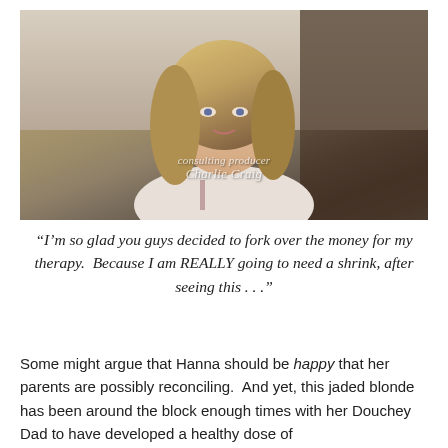[Figure (photo): Screenshot of a blonde woman (Hanna) from a TV show, with on-screen credit text reading 'consulting producer Charlie Craig']
“I’m so glad you guys decided to fork over the money for my therapy.  Because I am REALLY going to need a shrink, after seeing this . . .”
Some might argue that Hanna should be happy that her parents are possibly reconciling.  And yet, this jaded blonde has been around the block enough times with her Douchey Dad to have developed a healthy dose of